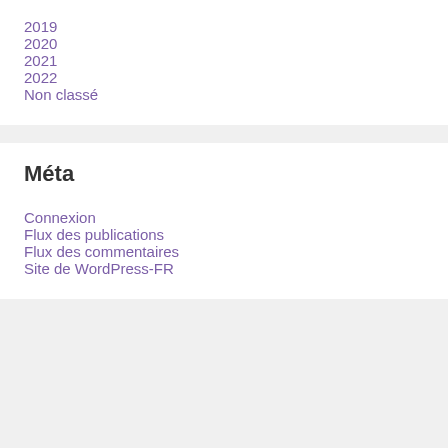2019
2020
2021
2022
Non classé
Méta
Connexion
Flux des publications
Flux des commentaires
Site de WordPress-FR